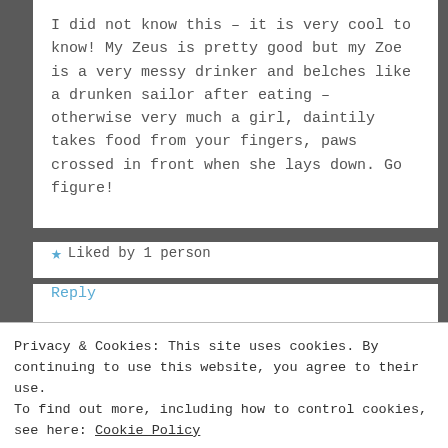I did not know this – it is very cool to know! My Zeus is pretty good but my Zoe is a very messy drinker and belches like a drunken sailor after eating – otherwise very much a girl, daintily takes food from your fingers, paws crossed in front when she lays down. Go figure!
★ Liked by 1 person
Reply
Tails Around the Ranch
Privacy & Cookies: This site uses cookies. By continuing to use this website, you agree to their use. To find out more, including how to control cookies, see here: Cookie Policy
Close and accept